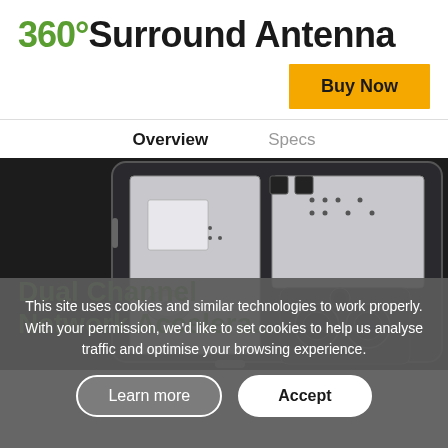360° Surround Antenna
Buy Now
Overview    Specs
[Figure (photo): Transparent back view of a smartphone showing internal components including circuit boards, camera modules, and structural chassis.]
Dual Channel Network Accelera…
This site uses cookies and similar technologies to work properly. With your permission, we'd like to set cookies to help us analyse traffic and optimise your browsing experience.
Learn more
Accept